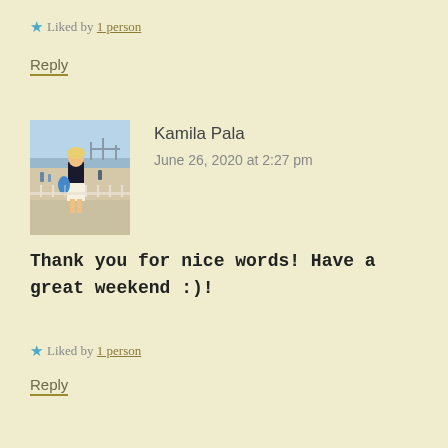★ Liked by 1 person
Reply
[Figure (photo): Avatar photo of Kamila Pala at a beach]
Kamila Pala
June 26, 2020 at 2:27 pm
Thank you for nice words! Have a great weekend :)!
★ Liked by 1 person
Reply